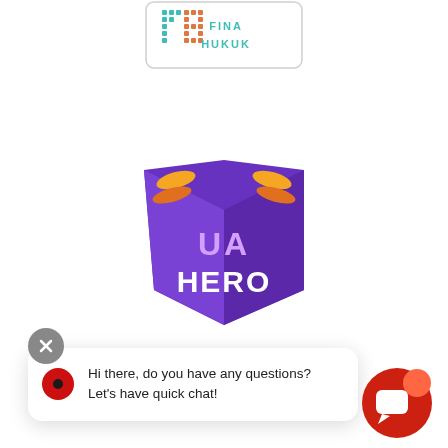[Figure (logo): Fina Hukuk logo with geometric FH monogram in teal/orange dotted style with border box]
[Figure (logo): UA Hero logo - purple book/shield shape with orange wing accents and white UA HERO text]
[Figure (logo): TRACKER logo in bold dark text with registered trademark symbol, partially visible]
[Figure (screenshot): Chat widget popup with close X button, red circle icon, message 'Hi there, do you have any questions? Let’s have quick chat!' and red chat icon button on bottom right]